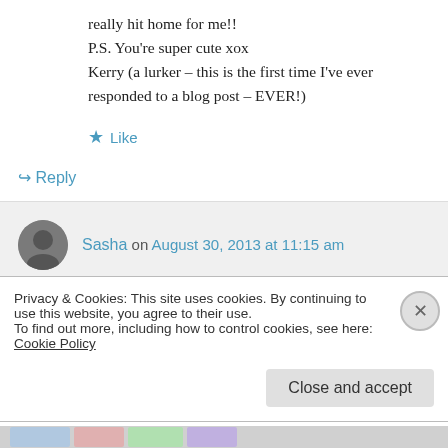really hit home for me!!
P.S. You're super cute xox
Kerry (a lurker – this is the first time I've ever responded to a blog post – EVER!)
★ Like
↪ Reply
Sasha on August 30, 2013 at 11:15 am
You will not regret it ~ and everyone will
Privacy & Cookies: This site uses cookies. By continuing to use this website, you agree to their use.
To find out more, including how to control cookies, see here: Cookie Policy
Close and accept